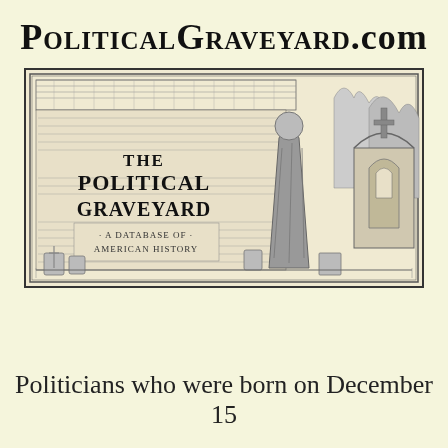PoliticalGraveyard.com
[Figure (illustration): Black and white engraving-style illustration of a graveyard with Gothic architecture, a robed figure, crosses and tombstones, and trees. Contains text overlay reading 'THE POLITICAL GRAVEYARD - A DATABASE OF AMERICAN HISTORY'.]
Politicians who were born on December 15